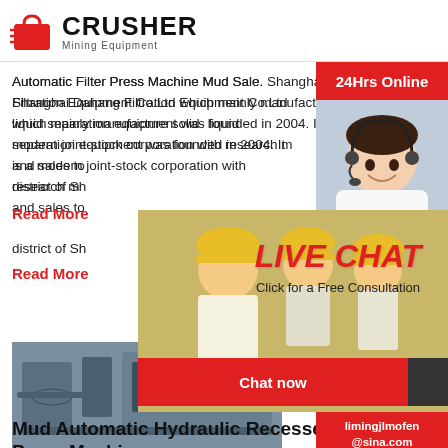CRUSHER Mining Equipment
Automatic Filter Press Machine Mud Sale. Shanghai Dahang Filtration Equipment Co.Ltd which mainly manufacture solid-liquid separation equipment was founded in 2004. It is a modern joint-stock corporation with research m... and sales to... district of Sh...
Read More
[Figure (photo): Industrial machinery/filter press machine photo]
[Figure (infographic): Live Chat overlay with workers in hard hats, LIVE CHAT text in red italic, Click for a Free Consultation subtitle, Chat now and Chat later buttons]
[Figure (photo): Customer service representative with headset, 24Hrs Online banner, Need questions & suggestion? Chat Now button, Enquiry section, limingjlmofen@sina.com email]
Mud Automatic Hydraulic Recessed Filter Press Machine
China Mud Automatic Hydraulic Recessed Filter Press Machine, Find details about China Filter Press, Hydraulic...